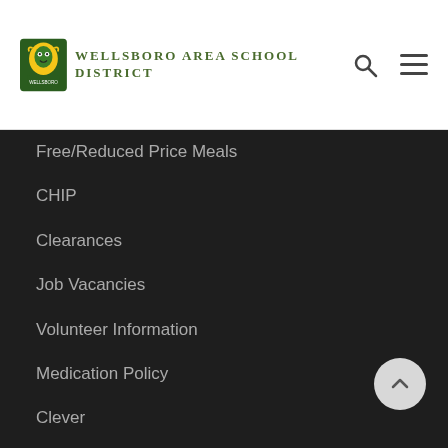[Figure (logo): Wellsboro Area School District logo with mascot and green text]
Free/Reduced Price Meals
CHIP
Clearances
Job Vacancies
Volunteer Information
Medication Policy
Clever
Work Orders
Tech Help Desk
Keynet Employee Portal
Sharepoint